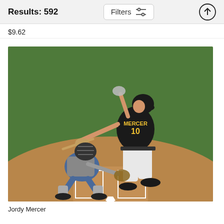Results: 592
$9.62
[Figure (photo): Baseball player Jordy Mercer wearing Pittsburgh Pirates black jersey number 10, swinging a bat at home plate, with a catcher in a white uniform crouching behind him on a baseball field with green grass in the background.]
Jordy Mercer